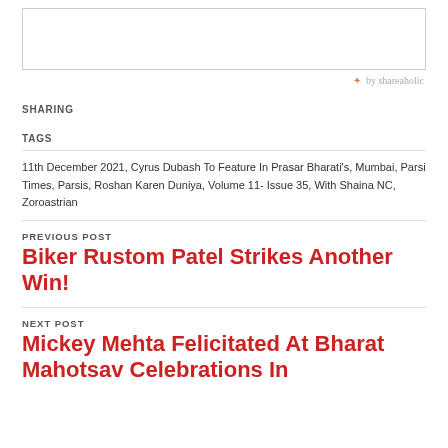[Figure (other): Placeholder image box at top of page]
✦ by shareaholic
SHARING
TAGS
11th December 2021, Cyrus Dubash To Feature In Prasar Bharati's, Mumbai, Parsi Times, Parsis, Roshan Karen Duniya, Volume 11- Issue 35, With Shaina NC, Zoroastrian
PREVIOUS POST
Biker Rustom Patel Strikes Another Win!
NEXT POST
Mickey Mehta Felicitated At Bharat Mahotsav Celebrations In